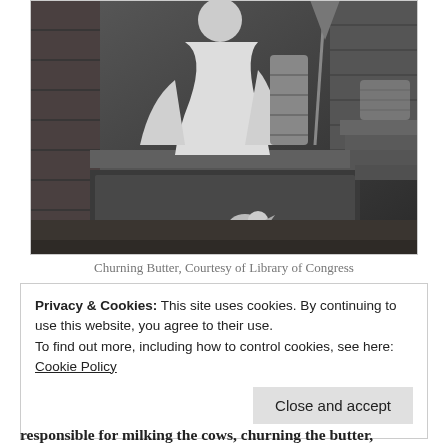[Figure (photo): Black and white historical photograph of a person churning butter on a wooden porch/steps, with a barrel, broom, and a white chicken visible.]
Churning Butter, Courtesy of Library of Congress
Privacy & Cookies: This site uses cookies. By continuing to use this website, you agree to their use.
To find out more, including how to control cookies, see here: Cookie Policy
Close and accept
responsible for milking the cows, churning the butter,